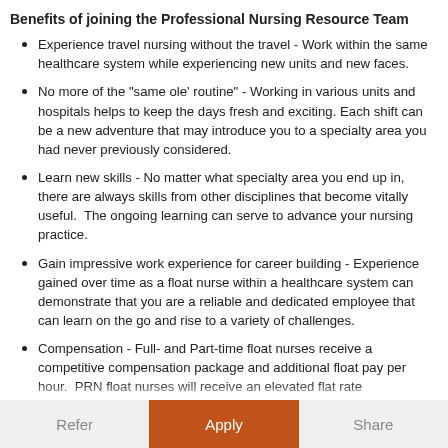Benefits of joining the Professional Nursing Resource Team
Experience travel nursing without the travel - Work within the same healthcare system while experiencing new units and new faces.
No more of the "same ole' routine" - Working in various units and hospitals helps to keep the days fresh and exciting. Each shift can be a new adventure that may introduce you to a specialty area you had never previously considered.
Learn new skills - No matter what specialty area you end up in, there are always skills from other disciplines that become vitally useful.  The ongoing learning can serve to advance your nursing practice.
Gain impressive work experience for career building - Experience gained over time as a float nurse within a healthcare system can demonstrate that you are a reliable and dedicated employee that can learn on the go and rise to a variety of challenges.
Compensation - Full- and Part-time float nurses receive a competitive compensation package and additional float pay per hour.  PRN float nurses will receive an elevated flat rate
Refer   Apply   Share